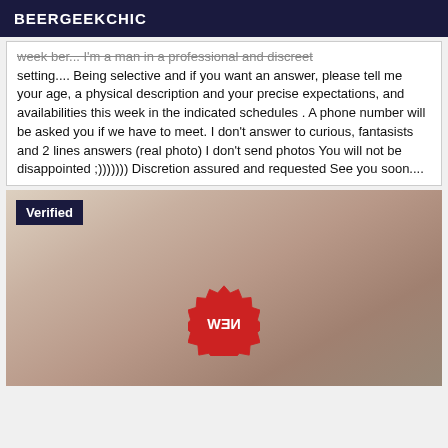BEERGEEKCHIC
week ber... I'm a man in a professional and discreet setting.... Being selective and if you want an answer, please tell me your age, a physical description and your precise expectations, and availabilities this week in the indicated schedules . A phone number will be asked you if we have to meet. I don't answer to curious, fantasists and 2 lines answers (real photo) I don't send photos You will not be disappointed ;))))))) Discretion assured and requested See you soon....
[Figure (photo): Photo with Verified badge and NEW sticker watermark]